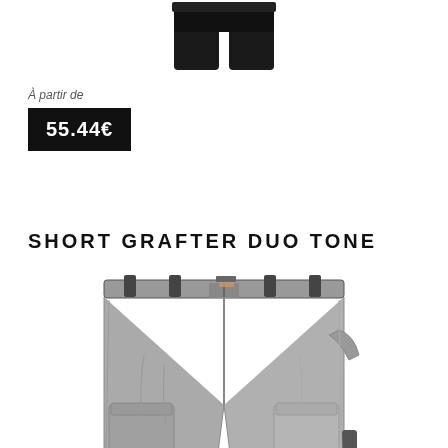[Figure (photo): Black work shorts product photo, cropped at top showing the lower portion]
À partir de
55.44€
SHORT GRAFTER DUO TONE
[Figure (photo): Grey and black Dickies Grafter Duo Tone work shorts with cargo pockets and belt loops]